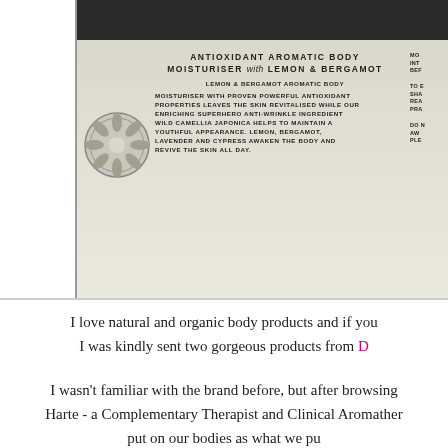[Figure (photo): Close-up photo of a cream/white jar of cosmetic product with dark lid, showing the label which reads 'ANTIOXIDANT AROMATIC BODY MOISTURISER with LEMON & BERGAMOT' and a detailed description of the product below. The jar is partially cropped with a decorative emblem visible on the left side.]
I love natural and organic body products and if you I was kindly sent two gorgeous products from D
I wasn't familiar with the brand before, but after browsing Harte - a Complementary Therapist and Clinical Aromather put on our bodies as what we pu